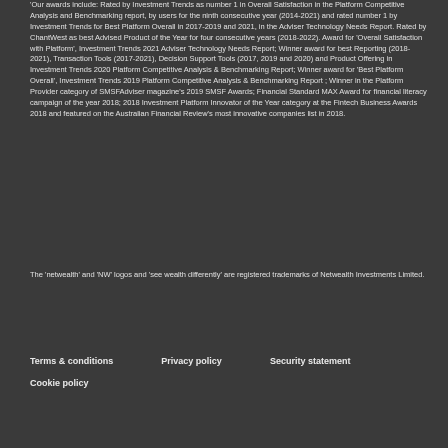'Our awards include: Rated by Investment Trends as number 1 in Overall Satisfaction in the Platform Competitive Analysis and Benchmarking report, by users for the ninth consecutive year (2014-2021) and rated number 1 by Investment Trends for Best Platform Overall in 2017-2019 and 2021, in the Adviser Technology Needs Report. Rated by ChantWest as best Advised Product of the Year for four consecutive years (2018-2022). Award for 'Overall Satisfaction with Platform', Investment Trends 2021 Adviser Technology Needs Report; Winner award for best Reporting (2018-2021), Transaction Tools (2017-2021), Decision Support Tools (2017, 2019 and 2020) and Product Offering in Investment Trends 2020 Platform Competitive Analysis & Benchmarking Report; Winner award for 'Best Platform Overall', Investment Trends 2019 Platform Competitive Analysis & Benchmarking Report ; Winner in the Platform Provider category of SMSFAdviser magazine's 2019 SMSF Awards; Financial Standard MAX Award for financial literacy campaign of the year 2018; 2018 Investment Platform Innovator of the Year category at the Fintech Business Awards 2018 and featured on the Australian Financial Review's most innovative companies list in 2018.
The 'netwealth' and 'NW' logos and 'see wealth differently' are registered trademarks of Netwealth Investments Limited.
Terms & conditions
Privacy policy
Security statement
Cookie policy